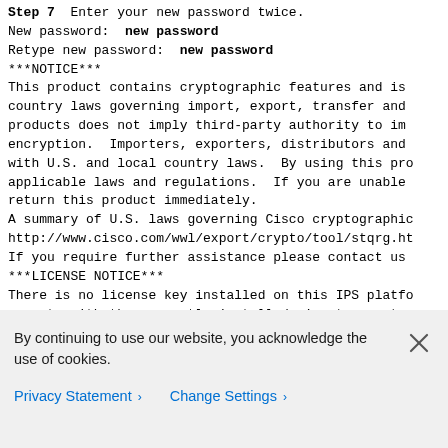Step 7  Enter your new password twice.
New password:  new password
Retype new password:  new password
***NOTICE***
This product contains cryptographic features and is subject to United States and local country laws governing import, export, transfer and use. Delivery of Cisco cryptographic products does not imply third-party authority to import, export, distribute or use encryption. Importers, exporters, distributors and users are responsible for compliance with U.S. and local country laws. By using this product you agree to comply with applicable laws and regulations. If you are unable to comply with U.S. and local laws, return this product immediately.
A summary of U.S. laws governing Cisco cryptographic products may be found at:
http://www.cisco.com/wwl/export/crypto/tool/stqrg.html
If you require further assistance please contact us by sending email to export@cisco.com.
***LICENSE NOTICE***
There is no license key installed on this IPS platform. The system will continue to operate with the currently installed signature set.
By continuing to use our website, you acknowledge the use of cookies.
Privacy Statement >   Change Settings >